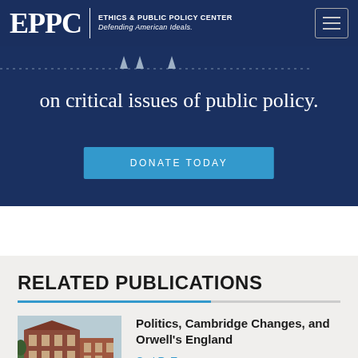EPPC | ETHICS & PUBLIC POLICY CENTER Defending American Ideals.
on critical issues of public policy.
DONATE TODAY
RELATED PUBLICATIONS
[Figure (photo): Photograph of a brick building near water]
Politics, Cambridge Changes, and Orwell's England
Carl R. Trueman